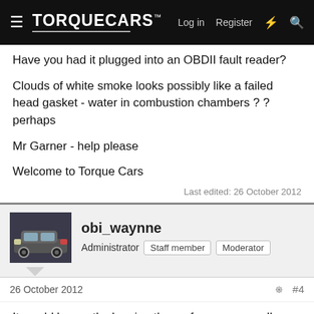TorqueCars™ — Log in  Register
Have you had it plugged into an OBDII fault reader?
Clouds of white smoke looks possibly like a failed head gasket - water in combustion chambers ? ? perhaps
Mr Garner - help please
Welcome to Torque Cars
Last edited: 26 October 2012
obi_waynne
Administrator  Staff member  Moderator
26 October 2012
#4
It would be worth cleaning the maf sensor as well.
White smoke does imply water or coolant to me.